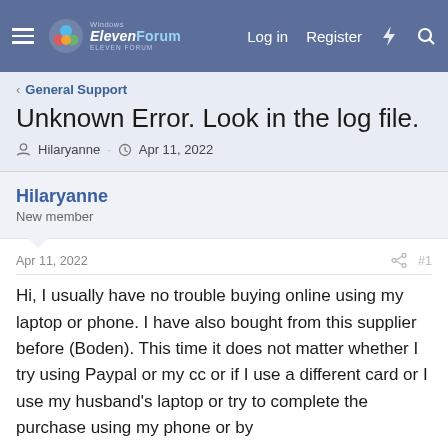Windows ElevenForum | Log in | Register
< General Support
Unknown Error. Look in the log file.
Hilaryanne · Apr 11, 2022
Hilaryanne
New member
Apr 11, 2022  #1
Hi, I usually have no trouble buying online using my laptop or phone. I have also bought from this supplier before (Boden). This time it does not matter whether I try using Paypal or my cc or if I use a different card or I use my husband's laptop or try to complete the purchase using my phone or by